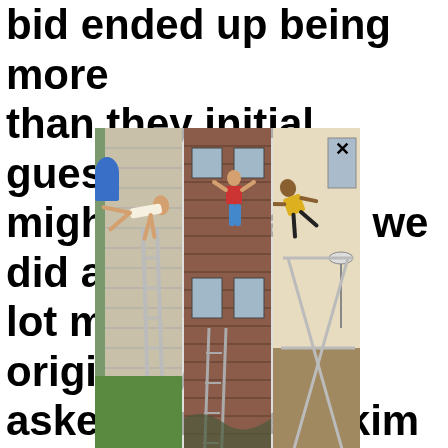bid ended up being more than they initial guessed it might be because we did a lot more than I originally asked for. They skim costed so some bills and close pri in my 1500 sq ft house was around $3000. A lot, but not outrageous and they did a
[Figure (photo): Three photos of people doing dangerous stunts near ladders and buildings: left photo shows person flying/falling horizontally near a ladder against a house; center photo shows person climbing/hanging on exterior of brick building by windows; right photo shows person jumping/flying over a scaffold/ladder indoors.]